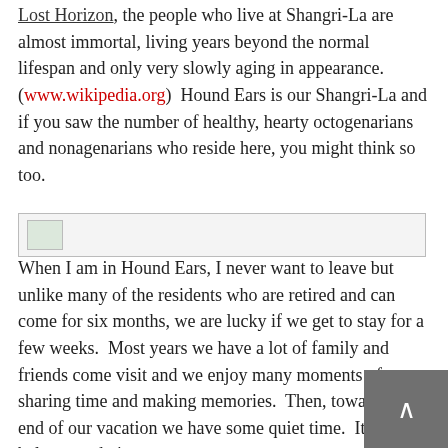Lost Horizon, the people who live at Shangri-La are almost immortal, living years beyond the normal lifespan and only very slowly aging in appearance. (www.wikipedia.org)  Hound Ears is our Shangri-La and if you saw the number of healthy, hearty octogenarians and nonagenarians who reside here, you might think so too.
[Figure (other): Broken image placeholder (gray bar with small image icon)]
When I am in Hound Ears, I never want to leave but unlike many of the residents who are retired and can come for six months, we are lucky if we get to stay for a few weeks.  Most years we have a lot of family and friends come visit and we enjoy many moments of sharing time and making memories.  Then, towards the end of our vacation we have some quiet time.  It's a nice balance and gives